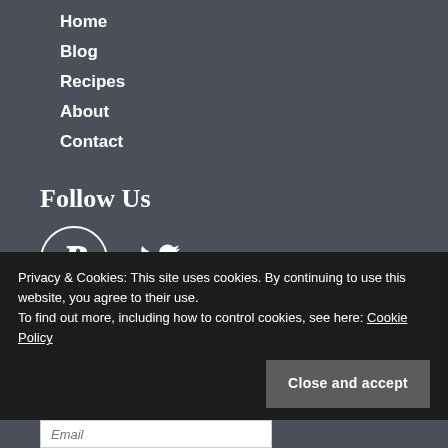Home
Blog
Recipes
About
Contact
Follow Us
[Figure (illustration): Pinterest and Twitter social media icons in white]
Privacy & Cookies: This site uses cookies. By continuing to use this website, you agree to their use.
To find out more, including how to control cookies, see here: Cookie Policy
Close and accept